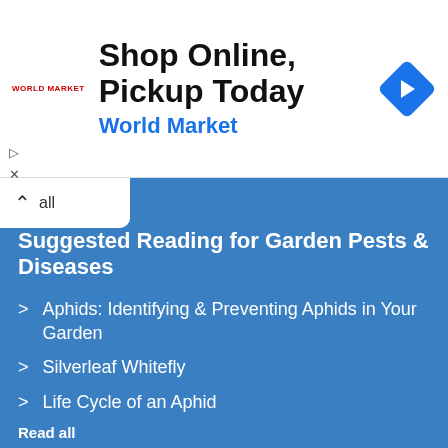[Figure (screenshot): Advertisement banner: 'Shop Online, Pickup Today' with World Market logo and blue diamond navigation icon]
Suggested Reading for Garden Pests & Diseases
Aphids: Identifying & Preventing Aphids in Your Garden
Silverleaf Whitefly
Life Cycle of an Aphid
Read all
Suggested Reading for Fertilisers
The Dangers Of Chemical Fertilisers